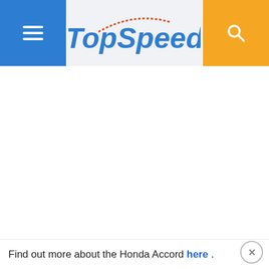[Figure (logo): TopSpeed website header with blue hamburger menu button on left, TopSpeed logo in center (blue italic text with orange/red arc decoration), and orange search button on right]
Find out more about the Honda Accord here .